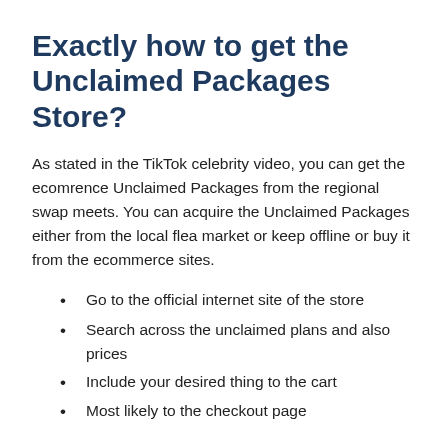Exactly how to get the Unclaimed Packages Store?
As stated in the TikTok celebrity video, you can get the ecomrence Unclaimed Packages from the regional swap meets. You can acquire the Unclaimed Packages either from the local flea market or keep offline or buy it from the ecommerce sites.
Go to the official internet site of the store
Search across the unclaimed plans and also prices
Include your desired thing to the cart
Most likely to the checkout page